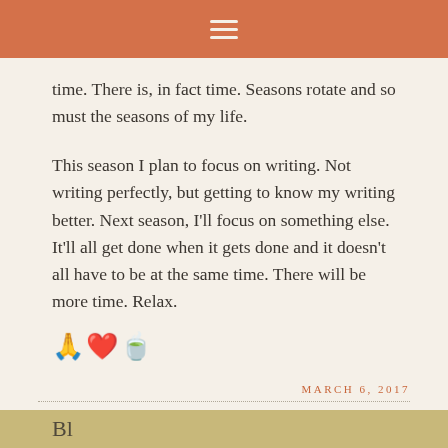≡
time. There is, in fact time. Seasons rotate and so must the seasons of my life.
This season I plan to focus on writing. Not writing perfectly, but getting to know my writing better. Next season, I'll focus on something else. It'll all get done when it gets done and it doesn't all have to be at the same time. There will be more time. Relax.
🙏❤️🍵
MARCH 6, 2017
LEAVE A COMMENT
Bl…